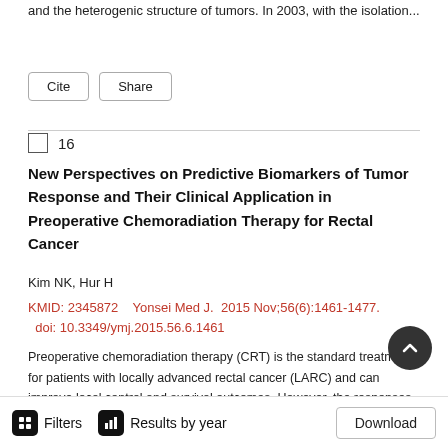and the heterogenic structure of tumors. In 2003, with the isolation...
Cite  Share
16
New Perspectives on Predictive Biomarkers of Tumor Response and Their Clinical Application in Preoperative Chemoradiation Therapy for Rectal Cancer
Kim NK, Hur H
KMID: 2345872    Yonsei Med J.  2015 Nov;56(6):1461-1477.  doi: 10.3349/ymj.2015.56.6.1461
Preoperative chemoradiation therapy (CRT) is the standard treatment for patients with locally advanced rectal cancer (LARC) and can improve local control and survival outcomes. However, the responses of individual tumors...
Filters  Results by year  Download